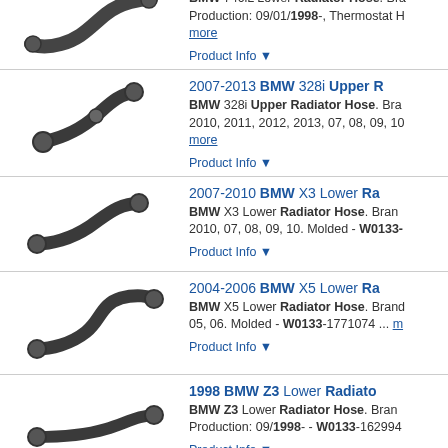[Figure (photo): Radiator hose for BMW 740iL, partially cropped at top]
BMW 740iL Lower Radiator Hose. Bra... Production: 09/01/1998-, Thermostat H... more
Product Info ▼
[Figure (photo): Radiator hose for 2007-2013 BMW 328i Upper Radiator Hose]
2007-2013 BMW 328i Upper R...
BMW 328i Upper Radiator Hose. Bra... 2010, 2011, 2012, 2013, 07, 08, 09, 10... more
Product Info ▼
[Figure (photo): Radiator hose for 2007-2010 BMW X3 Lower Radiator Hose]
2007-2010 BMW X3 Lower Ra...
BMW X3 Lower Radiator Hose. Brand... 2010, 07, 08, 09, 10. Molded - W0133-...
Product Info ▼
[Figure (photo): Radiator hose for 2004-2006 BMW X5 Lower Radiator Hose]
2004-2006 BMW X5 Lower Ra...
BMW X5 Lower Radiator Hose. Brand... 05, 06. Molded - W0133-1771074 ... m...
Product Info ▼
[Figure (photo): Radiator hose for 1998 BMW Z3 Lower Radiator Hose]
1998 BMW Z3 Lower Radiator...
BMW Z3 Lower Radiator Hose. Brand... Production: 09/1998- - W0133-162994...
Product Info ▼
2007-2013 BMW 328i Upper...